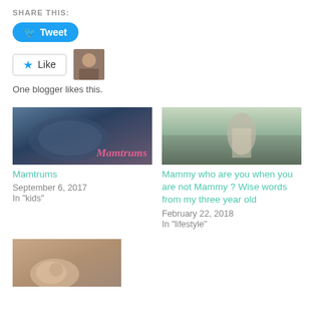SHARE THIS:
Tweet
Like · One blogger likes this.
[Figure (photo): Thumbnail image for Mamtrums blog post — dark blue/purple toned image with text 'Mamtrums' in pink italic]
Mamtrums
September 6, 2017
In "kids"
[Figure (photo): Thumbnail image for Mammy post — muted teal/green toned photo of person from behind looking at sea]
Mammy who are you when you are not Mammy ? Wise words from my three year old
February 22, 2018
In "lifestyle"
[Figure (photo): Thumbnail image — close-up of a baby fist/hand in warm blurred tones]